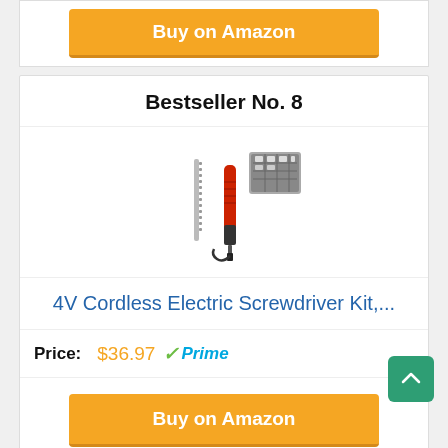[Figure (other): Orange 'Buy on Amazon' button from previous product card (partially visible at top)]
Bestseller No. 8
[Figure (photo): 4V cordless electric screwdriver kit product photo showing a red electric screwdriver with a set of bit accessories]
4V Cordless Electric Screwdriver Kit,...
Price: $36.97  Prime
Buy on Amazon
Bestseller No. 9
[Figure (photo): Partial product photo at bottom, showing what appears to be a screwdriver bit set]